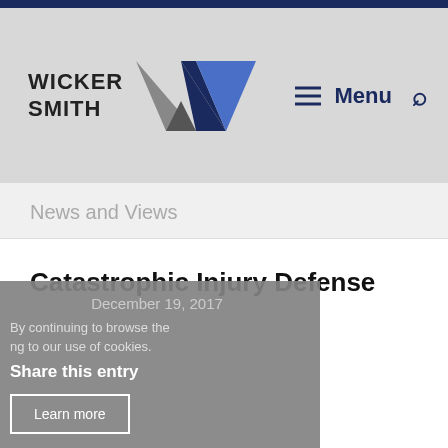[Figure (logo): Wicker Smith law firm logo with stylized W made of triangles in gray and blue]
Menu
News and Views
Catastrophic Injury Defense
December 19, 2017
By continuing to browse the ng to our use of cookies.
Share this entry
Learn more